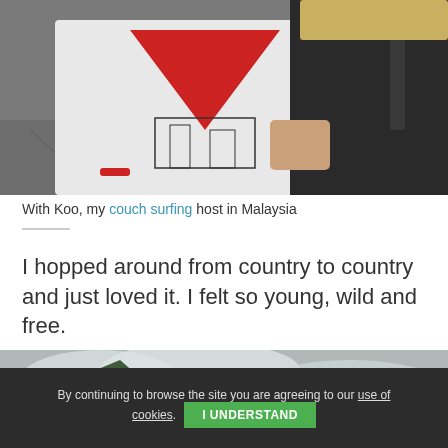[Figure (photo): Two people posing together outdoors; person on left wearing white t-shirt with red triangle design, person on right wearing dark clothing with backpack]
With Koo, my couch surfing host in Malaysia
I hopped around from country to country and just loved it. I felt so young, wild and free.
[Figure (photo): Scenic outdoor photo of a large rocky mountain or limestone karst formation with vegetation, under a cloudy sky]
By continuing to browse the site you are agreeing to our use of cookies.  I UNDERSTAND